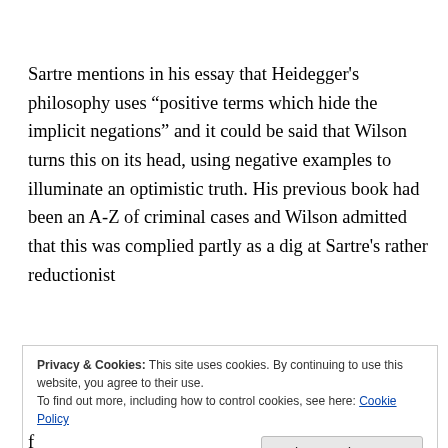Sartre mentions in his essay that Heidegger’s philosophy uses “positive terms which hide the implicit negations” and it could be said that Wilson turns this on its head, using negative examples to illuminate an optimistic truth. His previous book had been an A-Z of criminal cases and Wilson admitted that this was complied partly as a dig at Sartre’s rather reductionist
Privacy & Cookies: This site uses cookies. By continuing to use this website, you agree to their use.
To find out more, including how to control cookies, see here: Cookie Policy
[Close and accept]
f...